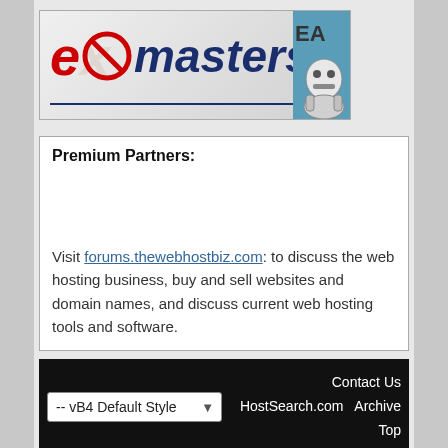[Figure (logo): eXmasters website logo with red X circle and dark blue 'masters' text, with teal sidebar showing 'EA' text and robot graphic]
Premium Partners:
Visit forums.thewebhostbiz.com: to discuss the web hosting business, buy and sell websites and domain names, and discuss current web hosting tools and software.
-- vB4 Default Style
Contact Us  HostSearch.com  Archive  Top
All times are GMT -4. The time now is 04:0
Powered by vBulletin®